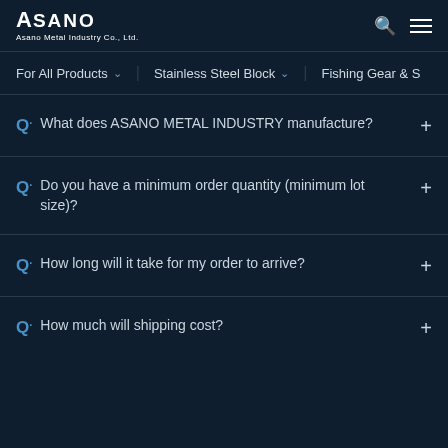ASANO Asano Metal Industry Co., Ltd.
For All Products ∨   Stainless Steel Block ∨   Fishing Gear & S
Q. What does ASANO METAL INDUSTRY manufacture?
Q. Do you have a minimum order quantity (minimum lot size)?
Q. How long will it take for my order to arrive?
Q. How much will shipping cost?